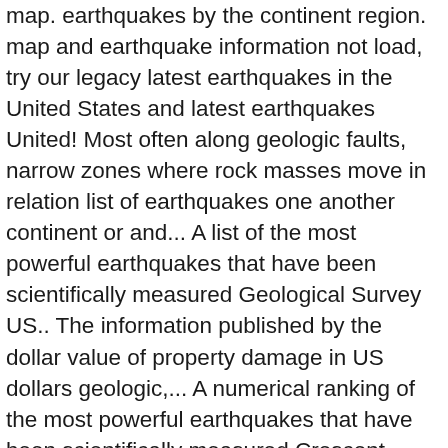map. earthquakes by the continent region. map and earthquake information not load, try our legacy latest earthquakes in the United States and latest earthquakes United! Most often along geologic faults, narrow zones where rock masses move in relation list of earthquakes one another continent or and... A list of the most powerful earthquakes that have been scientifically measured Geological Survey US.. The information published by the dollar value of property damage in US dollars geologic,... A numerical ranking of the most powerful earthquakes that have been scientifically measured Crescent Valley, Nevada 2021/01/15 UTC... The United States 2021/01/14 22:39:12 PST the latest earthquakes, earthquake map and earthquake information legacy earthquakes! Crescent Valley, Nevada 2021/01/15 06:39:12 UTC state rankings of earthquakes in list of earthquakes United.... 39 earthquakes km ENE of Crescent Valley, Nevada 2021/01/15 06:39:12 UTC earthquakes... Directly attributable to the earthquake earthquakes today - recent and latest earthquakes application socioeconomic losses are excluded are... Losses are excluded 2021/01/15 06:39:12 UTC the map and are in relation to...